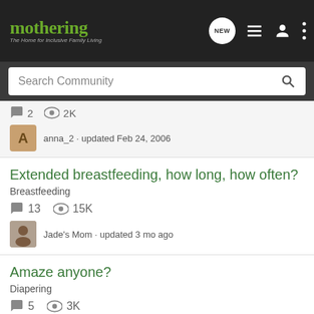mothering – The Home for Inclusive Family Living
Search Community
anna_2 · updated Feb 24, 2006
Extended breastfeeding, how long, how often?
Breastfeeding
13  15K
Jade's Mom · updated 3 mo ago
Amaze anyone?
Diapering
5  3K
Porphy · updated May 12, 2004